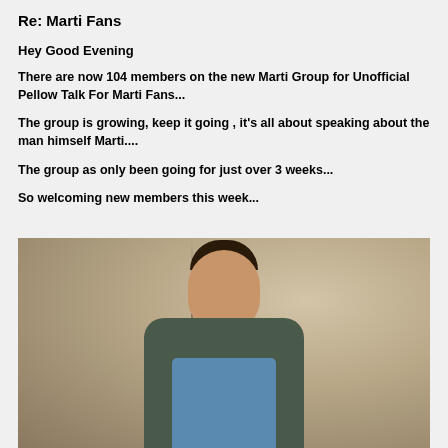Re: Marti Fans
Hey Good Evening
There are now 104 members on the new Marti Group for Unofficial Pellow Talk For Marti Fans...
The group is growing, keep it going , it's all about speaking about the man himself Marti....
The group as only been going for just over 3 weeks...
So welcoming new members this week...
[Figure (photo): A man laughing heartily, wearing a dark green/gray leather jacket over a blue shirt, photographed against a weathered concrete wall]